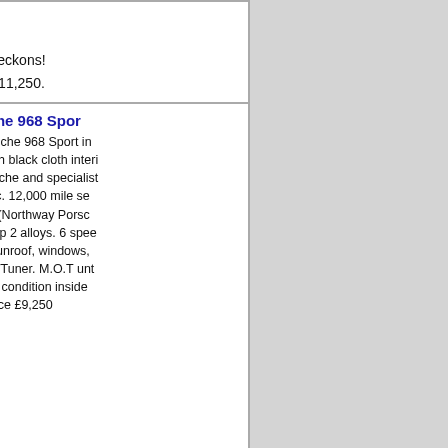beckons! £11,250.
[Figure (photo): 1994 Porsche 968 Sport in dark metallic color, parked in a lot]
Sold
Porsche 968 Sport - 1994 Porsche 968 Sport in metallic with black cloth interior miles. Porsche and specialist history inc. 12,000 mile service 29.03.06 (Northway Porsche) marked Cup 2 alloys. 6 speed. Electric sunroof, windows, Alpine CD/Tuner. M.O.T until... Excellent condition inside & out. Price £9,250
[Figure (photo): Red 968 Cabriolet Tiptronic, side view]
Sold
968 Cabriolet Tiptronic - Guards red, Light grey leather hood, climate air con, headlamp cruise control, 17" cup w... overmats. Single in dash c... original installation. 62,000 m... inc photos & all previous MOT... car in very good condition. £12,000 ONO.
[Figure (photo): Black PORSCHE 968 Sport 2dr covered with a car cover outdoors]
PORSCHE 968 Sport 2dr - 112000 miles, L85HAN 1994 RHD. Black with Black Hard-Hi backed s... and Silver Club Sport gran...